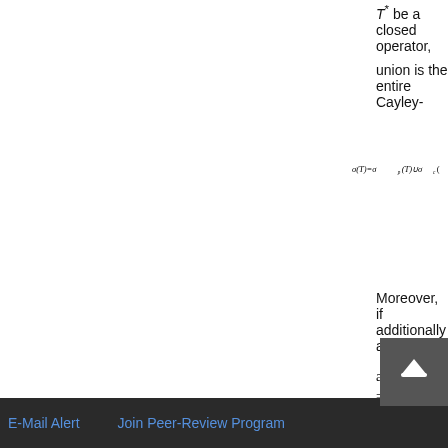T* be a closed operator,
union is the entire Cayley-
Moreover, if additionally a
and R(a;T)* = R(a*;
Proof. In the general case
components \mu_{i_s, i_t}(d\lambda; x
the sum of the point (\mu
Top
ABSTRACT
Introduction
Preliminaries
Normal Operators
REFERENCES
E-Mail Alert    Join Peer-Review Program